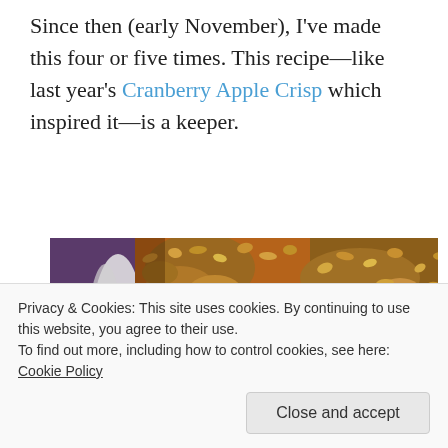Since then (early November), I've made this four or five times. This recipe—like last year's Cranberry Apple Crisp which inspired it—is a keeper.
[Figure (photo): Close-up photo of a baking dish containing a fruit crisp with oat crumble topping, showing warm fruit filling with cranberries visible underneath the golden-brown oat topping. A purple cloth napkin and serving spoon are visible on the left.]
Privacy & Cookies: This site uses cookies. By continuing to use this website, you agree to their use.
To find out more, including how to control cookies, see here: Cookie Policy